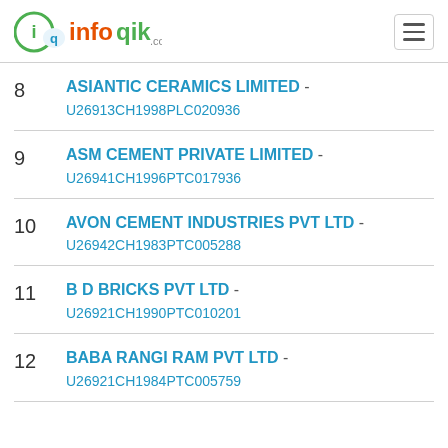infoqik.com
8 ASIANTIC CERAMICS LIMITED - U26913CH1998PLC020936
9 ASM CEMENT PRIVATE LIMITED - U26941CH1996PTC017936
10 AVON CEMENT INDUSTRIES PVT LTD - U26942CH1983PTC005288
11 B D BRICKS PVT LTD - U26921CH1990PTC010201
12 BABA RANGI RAM PVT LTD - U26921CH1984PTC005759